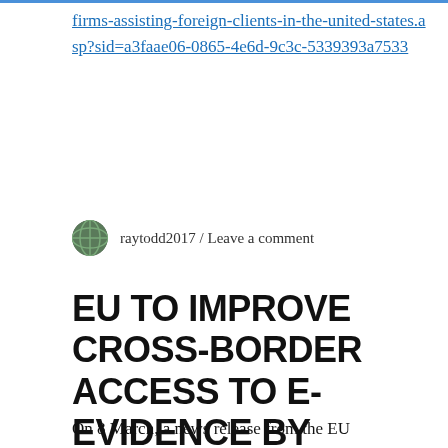firms-assisting-foreign-clients-in-the-united-states.asp?sid=a3faae06-0865-4e6d-9c3c-5339393a7533
raytodd2017 / Leave a comment
EU TO IMPROVE CROSS-BORDER ACCESS TO E-EVIDENCE BY CREATING A LEGAL FRAMEWORK
On 8 March, a news release from the EU